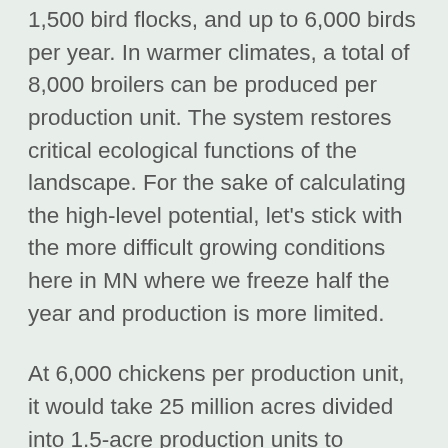1,500 bird flocks, and up to 6,000 birds per year. In warmer climates, a total of 8,000 broilers can be produced per production unit. The system restores critical ecological functions of the landscape. For the sake of calculating the high-level potential, let's stick with the more difficult growing conditions here in MN where we freeze half the year and production is more limited.
At 6,000 chickens per production unit, it would take 25 million acres divided into 1.5-acre production units to produce all of the world's chicken demand at 10 billion people. At 6 production units per farm, it would take 4.2 million small 9-acre farm operations. But not only that, the same space would produce an understory of hazelnuts and elderberries and an overstory of oaks, chestnuts, butternuts, sugar maple, basswood, cycling massive amounts of carbon